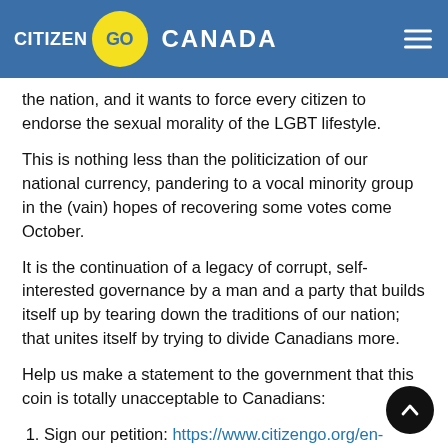CitizenGO CANADA
the nation, and it wants to force every citizen to endorse the sexual morality of the LGBT lifestyle.
This is nothing less than the politicization of our national currency, pandering to a vocal minority group in the (vain) hopes of recovering some votes come October.
It is the continuation of a legacy of corrupt, self-interested governance by a man and a party that builds itself up by tearing down the traditions of our nation; that unites itself by trying to divide Canadians more.
Help us make a statement to the government that this coin is totally unacceptable to Canadians:
Sign our petition: https://www.citizengo.org/en-ca/fm/167676-say-no-gay-loonie
Refuse the coin when it is offered you. (Say, "No thank you"